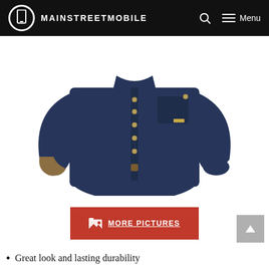MAINSTREETMOBILE  Menu
[Figure (photo): Navy blue long-sleeve button-up shirt with a chest pocket, snap buttons down the front, and tan/khaki lining visible at the cuffs, displayed on a white background.]
MORE PICTURES
Great look and lasting durability